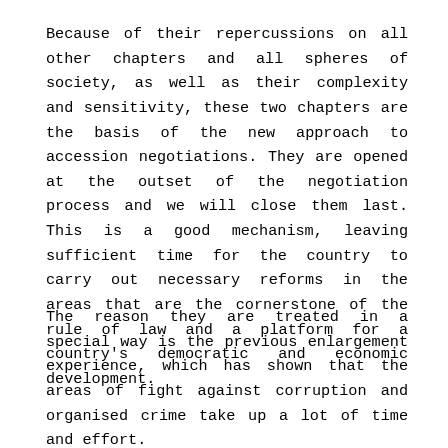Because of their repercussions on all other chapters and all spheres of society, as well as their complexity and sensitivity, these two chapters are the basis of the new approach to accession negotiations. They are opened at the outset of the negotiation process and we will close them last. This is a good mechanism, leaving sufficient time for the country to carry out necessary reforms in the areas that are the cornerstone of the rule of law and a platform for a country's democratic and economic development.
The reason they are treated in a special way is the previous enlargement experience, which has shown that the areas of fight against corruption and organised crime take up a lot of time and effort.